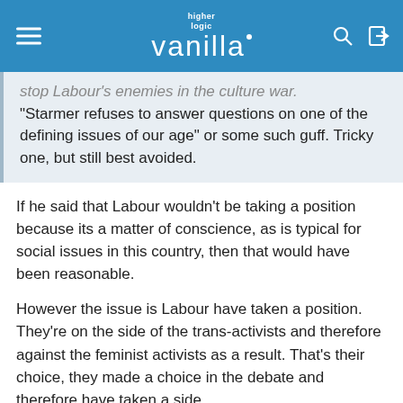higher logic vanilla
stop Labour's enemies in the culture war. "Starmer refuses to answer questions on one of the defining issues of our age" or some such guff. Tricky one, but still best avoided.
If he said that Labour wouldn't be taking a position because its a matter of conscience, as is typical for social issues in this country, then that would have been reasonable.
However the issue is Labour have taken a position. They're on the side of the trans-activists and therefore against the feminist activists as a result. That's their choice, they made a choice in the debate and therefore have taken a side.